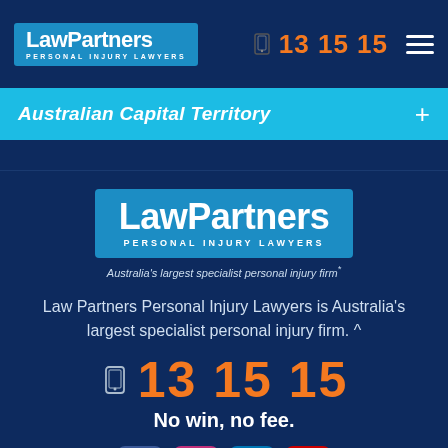LawPartners PERSONAL INJURY LAWYERS | 13 15 15
Australian Capital Territory
[Figure (logo): LawPartners Personal Injury Lawyers logo, large centered version with tagline: Australia's largest specialist personal injury firm*]
Law Partners Personal Injury Lawyers is Australia's largest specialist personal injury firm. ^
13 15 15
No win, no fee.
[Figure (other): Social media icons: Facebook, Instagram, LinkedIn, YouTube]